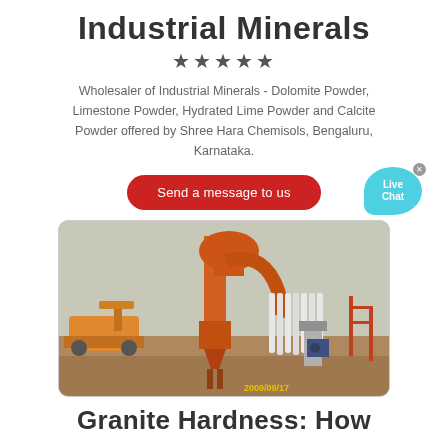Industrial Minerals
★★★★★
Wholesaler of Industrial Minerals - Dolomite Powder, Limestone Powder, Hydrated Lime Powder and Calcite Powder offered by Shree Hara Chemisols, Bengaluru, Karnataka.
Send a message to us
[Figure (photo): Orange industrial mineral grinding/milling machine on a construction site, with a front loader in the background. Timestamp: 2009/09/17]
Granite Hardness: How